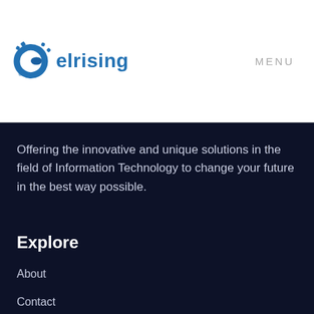[Figure (logo): Celrising logo: a blue arc/circle icon with dotted elements and the text 'elrising' in blue]
MENU
Offering the innovative and unique solutions in the field of Information Technology to change your future in the best way possible.
Explore
About
Contact